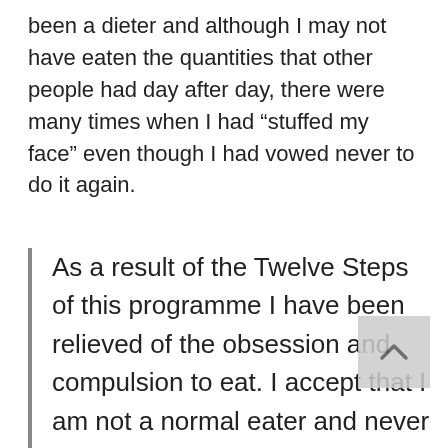been a dieter and although I may not have eaten the quantities that other people had day after day, there were many times when I had “stuffed my face” even though I had vowed never to do it again.
As a result of the Twelve Steps of this programme I have been relieved of the obsession and compulsion to eat. I accept that I am not a normal eater and never will be. As well as the relief from food obsession I have also been relieved of the